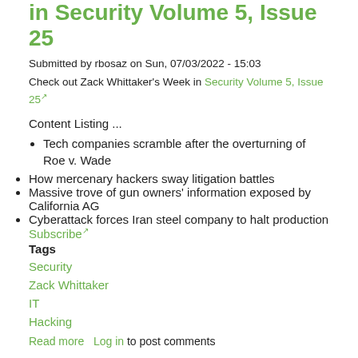in Security Volume 5, Issue 25
Submitted by rbosaz on Sun, 07/03/2022 - 15:03
Check out Zack Whittaker's Week in Security Volume 5, Issue 25
Content Listing ...
Tech companies scramble after the overturning of Roe v. Wade
How mercenary hackers sway litigation battles
Massive trove of gun owners' information exposed by California AG
Cyberattack forces Iran steel company to halt production
Subscribe
Tags
Security
Zack Whittaker
IT
Hacking
Read more   Log in to post comments
Zack Whittaker - Week in Security Volume 5, Issue 24